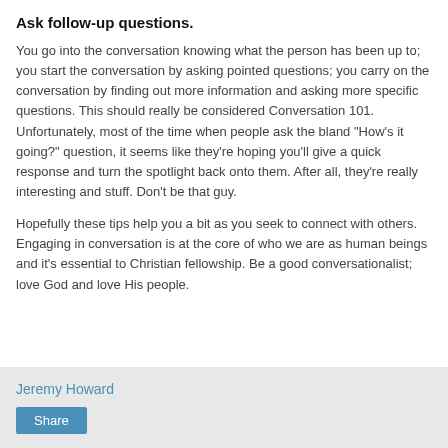Ask follow-up questions.
You go into the conversation knowing what the person has been up to; you start the conversation by asking pointed questions; you carry on the conversation by finding out more information and asking more specific questions. This should really be considered Conversation 101. Unfortunately, most of the time when people ask the bland "How's it going?" question, it seems like they're hoping you'll give a quick response and turn the spotlight back onto them. After all, they're really interesting and stuff. Don't be that guy.
Hopefully these tips help you a bit as you seek to connect with others. Engaging in conversation is at the core of who we are as human beings and it's essential to Christian fellowship. Be a good conversationalist; love God and love His people.
Jeremy Howard
Share